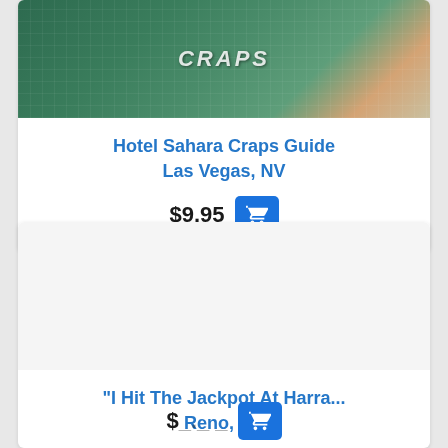[Figure (photo): Craps table game layout image for Hotel Sahara Craps Guide]
Hotel Sahara Craps Guide
Las Vegas, NV
$9.95
[Figure (photo): Product image placeholder for I Hit The Jackpot At Harra...]
"I Hit The Jackpot At Harra...
Reno, NV